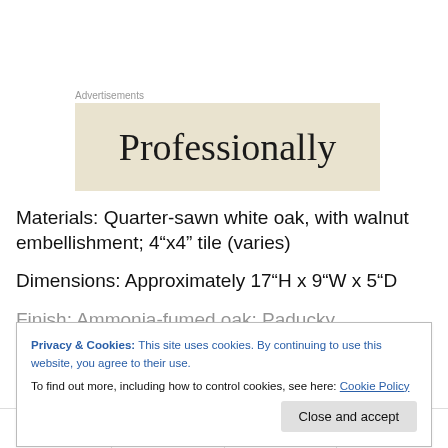Advertisements
[Figure (other): Advertisement banner with beige background showing the word 'Professionally' in large serif font]
Materials: Quarter-sawn white oak, with walnut embellishment; 4”x4” tile (varies)
Dimensions: Approximately 17”H x 9”W x 5”D
Finish: Ammonia-fumed oak; Paducky polyurethane, either
Privacy & Cookies: This site uses cookies. By continuing to use this website, you agree to their use.
To find out more, including how to control cookies, see here: Cookie Policy
Facebook  LinkedIn  Pinterest  Twitter